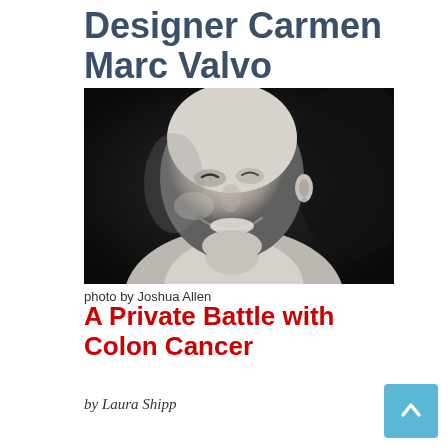Designer Carmen Marc Valvo
[Figure (photo): Black and white portrait photo of a smiling bald man, looking to the left, wearing a white shirt. Background is dark.]
photo by Joshua Allen
A Private Battle with Colon Cancer
by Laura Shipp